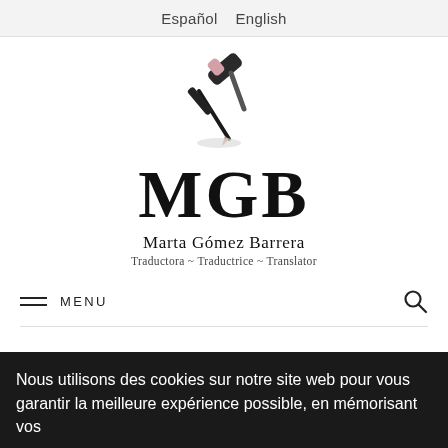Español   English
[Figure (logo): MGB logo with gavel and pen illustration above the letters MGB, name Marta Gómez Barrera, tagline Traductora ~ Traductrice ~ Translator]
MENU
Nous utilisons des cookies sur notre site web pour vous garantir la meilleure expérience possible, en mémorisant vos